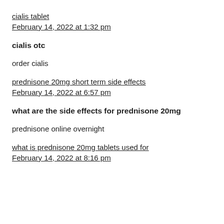cialis tablet
February 14, 2022 at 1:32 pm
cialis otc
order cialis
prednisone 20mg short term side effects
February 14, 2022 at 6:57 pm
what are the side effects for prednisone 20mg
prednisone online overnight
what is prednisone 20mg tablets used for
February 14, 2022 at 8:16 pm